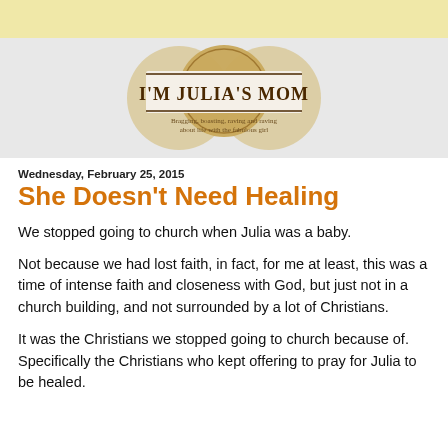[Figure (logo): Blog logo: two overlapping circular images with a coin/penny in center, text reads "I'M JULIA'S MOM" with subtitle "Bragging, boasting, raving and raving about life with the fabulous girl"]
Wednesday, February 25, 2015
She Doesn't Need Healing
We stopped going to church when Julia was a baby.
Not because we had lost faith, in fact, for me at least, this was a time of intense faith and closeness with God, but just not in a church building, and not surrounded by a lot of Christians.
It was the Christians we stopped going to church because of. Specifically the Christians who kept offering to pray for Julia to be healed.